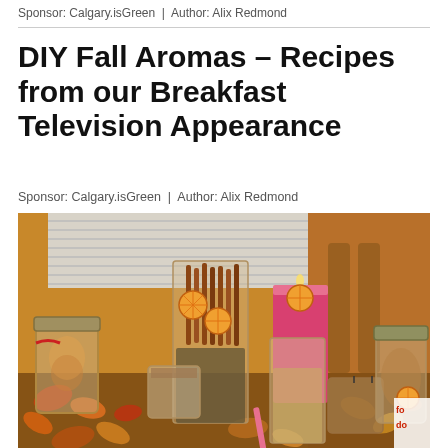Sponsor: Calgary.isGreen  |  Author: Alix Redmond
DIY Fall Aromas – Recipes from our Breakfast Television Appearance
Sponsor: Calgary.isGreen  |  Author: Alix Redmond
[Figure (photo): A table display of fall aroma decorations: mason jars, glass vases with cinnamon sticks and dried orange slices, pink and brown candles, surrounded by fall leaves and potpourri in warm autumn colors.]